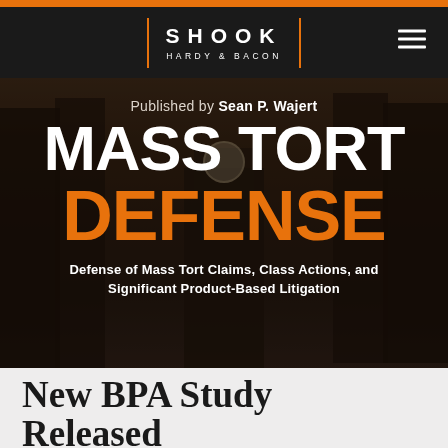SHOOK HARDY & BACON
[Figure (screenshot): Dark city street background with a clock tower, used as hero image for the Mass Tort Defense blog]
Published by Sean P. Wajert
MASS TORT DEFENSE
Defense of Mass Tort Claims, Class Actions, and Significant Product-Based Litigation
New BPA Study Released